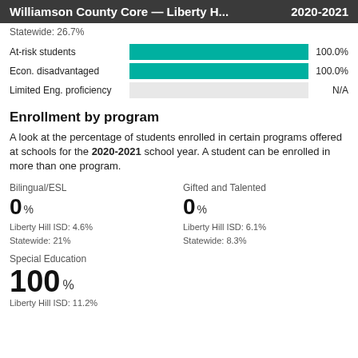Williamson County Core — Liberty H... 2020-2021
Statewide: 26.7%
[Figure (bar-chart): ]
Enrollment by program
A look at the percentage of students enrolled in certain programs offered at schools for the 2020-2021 school year. A student can be enrolled in more than one program.
Bilingual/ESL
0%
Liberty Hill ISD: 4.6%
Statewide: 21%
Gifted and Talented
0%
Liberty Hill ISD: 6.1%
Statewide: 8.3%
Special Education
100%
Liberty Hill ISD: 11.2%